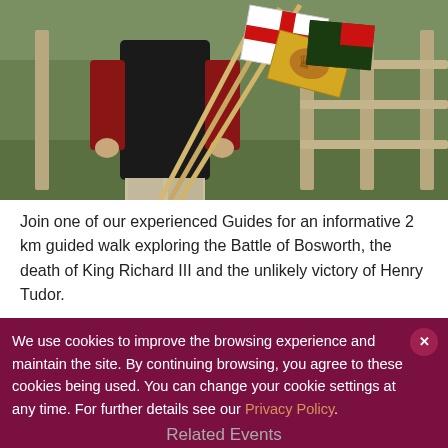[Figure (photo): A person holding multiple flag poles with medieval heraldic flags (St George cross and Royal Standard/Tudor heraldry), standing in front of a wooden fence with a green field in the background.]
Join one of our experienced Guides for an informative 2 km guided walk exploring the Battle of Bosworth, the death of King Richard III and the unlikely victory of Henry Tudor.
Adult £4.50, Concession £4, Child £3. Family Tickets also available.
We use cookies to improve the browsing experience and maintain the site. By continuing browsing, you agree to these cookies being used. You can change your cookie settings at any time. For further details see our Privacy Policy.
Related Events